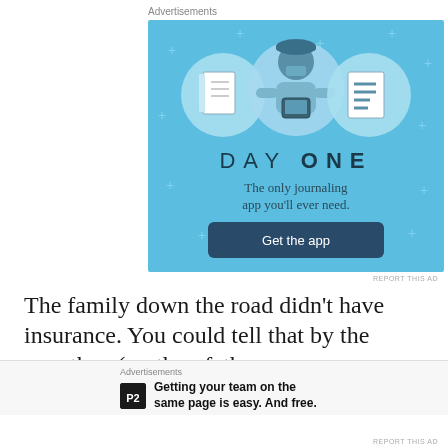Advertisements
[Figure (illustration): Day One journaling app advertisement on a light blue background. Shows a cartoon person holding a phone, flanked by circular icons of a notebook and a checklist. Text reads 'DAY ONE' and 'The only journaling app you'll ever need.' with a dark teal 'Get the app' button.]
REPORT THIS AD
The family down the road didn't have insurance. You could tell that by the way they (mother, father,
Advertisements
[Figure (logo): P2 app advertisement. Shows P2 logo (white P2 on black square) followed by bold text: 'Getting your team on the same page is easy. And free.']
REPORT THIS AD